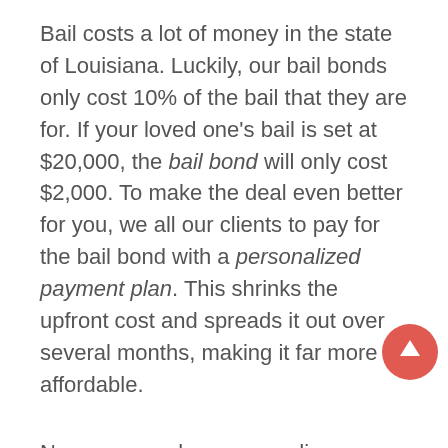Bail costs a lot of money in the state of Louisiana. Luckily, our bail bonds only cost 10% of the bail that they are for. If your loved one's bail is set at $20,000, the bail bond will only cost $2,000. To make the deal even better for you, we all our clients to pay for the bail bond with a personalized payment plan. This shrinks the upfront cost and spreads it out over several months, making it far more affordable.
No one ever plans on needing to bail someone out of jail. It is something that just randomly pops up, often at the worst possible times. However, there is no need